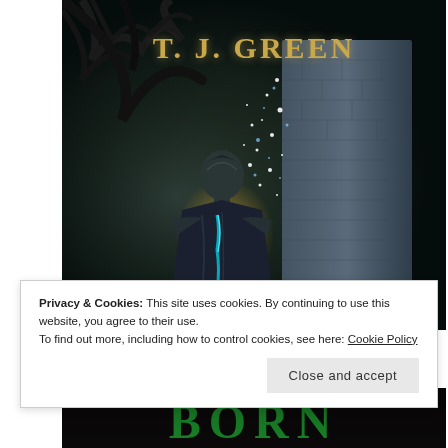[Figure (illustration): Book cover for a Young Adult Arthurian Fantasy by T.J. Green. Dark atmospheric cover showing a figure from behind wearing a dark cloak with glowing teal/blue light, facing a magical sparkling stone tower. Dark tree branches visible at top. Author name 'T. J. GREEN' displayed in gold serif letters at top.]
Privacy & Cookies: This site uses cookies. By continuing to use this website, you agree to their use.
To find out more, including how to control cookies, see here: Cookie Policy
Close and accept
[Figure (illustration): Bottom portion of another book cover showing large stylized green letters partially visible, appears to read 'BORN' or similar word in glowing green against dark background.]